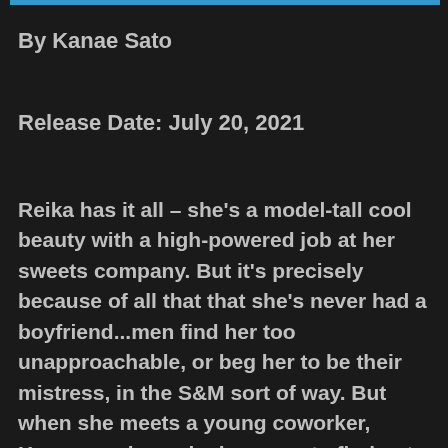By Kanae Sato
Release Date: July 20, 2021
Reika has it all – she's a model-tall cool beauty with a high-powered job at her sweets company. But it's precisely because of all that that she's never had a boyfriend...men find her too unapproachable, or beg her to be their mistress, in the S&M sort of way. But when she meets a young coworker, Hasegawa-kun, she happens to find out that they have